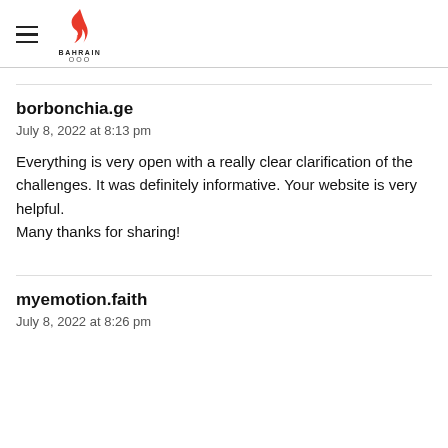Bahrain Olympic Committee
borbonchia.ge
July 8, 2022 at 8:13 pm
Everything is very open with a really clear clarification of the
challenges. It was definitely informative. Your website is very helpful.
Many thanks for sharing!
myemotion.faith
July 8, 2022 at 8:26 pm